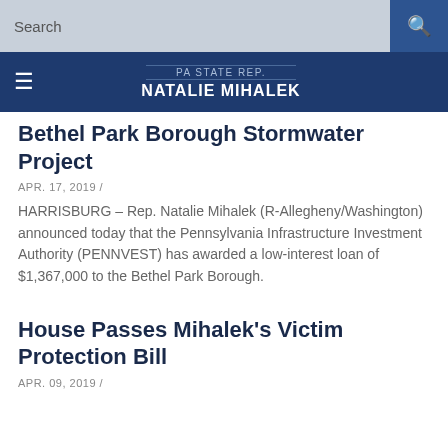Search
PA STATE REP. NATALIE MIHALEK
Bethel Park Borough Stormwater Project
APR. 17, 2019 /
HARRISBURG – Rep. Natalie Mihalek (R-Allegheny/Washington) announced today that the Pennsylvania Infrastructure Investment Authority (PENNVEST) has awarded a low-interest loan of $1,367,000 to the Bethel Park Borough.
House Passes Mihalek's Victim Protection Bill
APR. 09, 2019 /